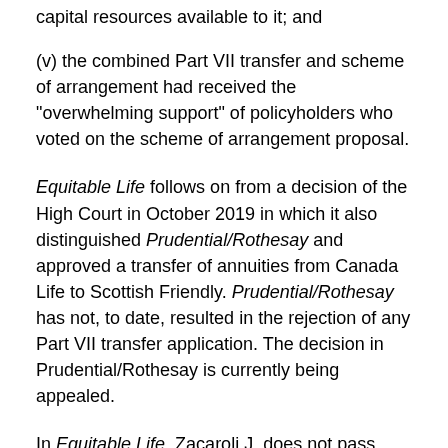capital resources available to it; and
(v) the combined Part VII transfer and scheme of arrangement had received the "overwhelming support" of policyholders who voted on the scheme of arrangement proposal.
Equitable Life follows on from a decision of the High Court in October 2019 in which it also distinguished Prudential/Rothesay and approved a transfer of annuities from Canada Life to Scottish Friendly. Prudential/Rothesay has not, to date, resulted in the rejection of any Part VII transfer application.  The decision in Prudential/Rothesay is currently being appealed.
In Equitable Life, Zacaroli J. does not pass comment on the merits of the decision in Prudential/Rothesay. However, any